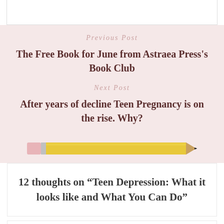Previous Post
The Free Book for June from Astraea Press's Book Club
Next Post
After years of decline Teen Pregnancy is on the rise. Why?
[Figure (illustration): A yellow pencil illustration with a pink eraser on the left and a dark tip on the right, positioned horizontally.]
12 thoughts on “Teen Depression: What it looks like and What You Can Do”